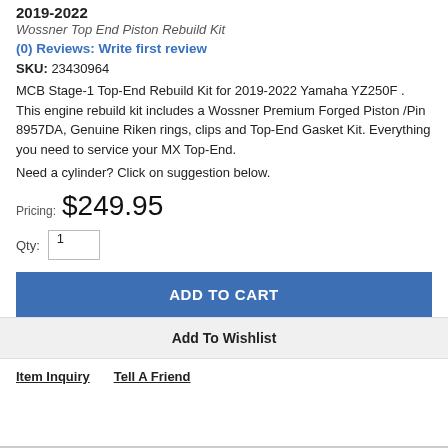2019-2022
Wossner Top End Piston Rebuild Kit
(0) Reviews: Write first review
SKU: 23430964
MCB Stage-1 Top-End Rebuild Kit for 2019-2022 Yamaha YZ250F . This engine rebuild kit includes a Wossner Premium Forged Piston /Pin 8957DA, Genuine Riken rings, clips and Top-End Gasket Kit. Everything you need to service your MX Top-End.
Need a cylinder? Click on suggestion below.
Pricing: $249.95
Qty: 1
ADD TO CART
Add To Wishlist
Item Inquiry
Tell A Friend